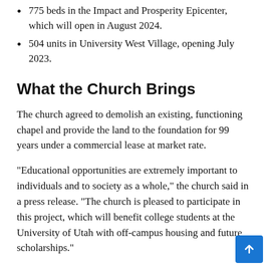775 beds in the Impact and Prosperity Epicenter, which will open in August 2024.
504 units in University West Village, opening July 2023.
What the Church Brings
The church agreed to demolish an existing, functioning chapel and provide the land to the foundation for 99 years under a commercial lease at market rate.
“Educational opportunities are extremely important to individuals and to society as a whole,” the church said in a press release. “The church is pleased to participate in this project, which will benefit college students at the University of Utah with off-campus housing and future scholarships.”
Presiding Bishop Gérald Causé spoke at the groundbreaking ceremony. He said church and university leaders have long talked about the strategic value of the land to the campus.